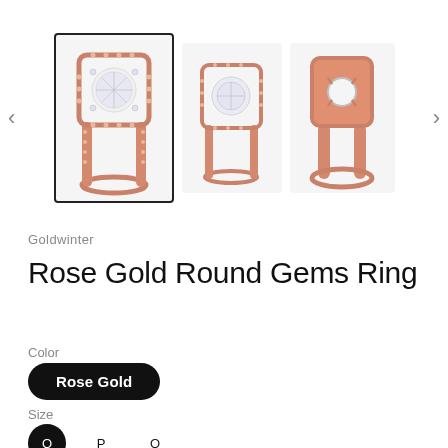[Figure (photo): Three product photos of a Rose Gold Round Gems Ring. First photo (selected, outlined in black border) shows front view of ring with large round center stone in square halo setting on rose gold band with pavé stones. Second photo shows similar front/side angle. Third photo shows back/underside view of ring setting.]
Goldwinter
Rose Gold Round Gems Ring
Color
Rose Gold
Size
Q  P  O